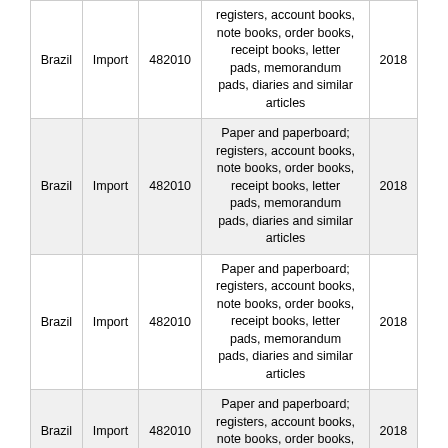| Country | Flow | HS Code | Description | Year |
| --- | --- | --- | --- | --- |
| Brazil | Import | 482010 | registers, account books, note books, order books, receipt books, letter pads, memorandum pads, diaries and similar articles | 2018 |
| Brazil | Import | 482010 | Paper and paperboard; registers, account books, note books, order books, receipt books, letter pads, memorandum pads, diaries and similar articles | 2018 |
| Brazil | Import | 482010 | Paper and paperboard; registers, account books, note books, order books, receipt books, letter pads, memorandum pads, diaries and similar articles | 2018 |
| Brazil | Import | 482010 | Paper and paperboard; registers, account books, note books, order books, receipt books, letter pads, memorandum pads, diaries and similar articles | 2018 |
HS Nomenclature used HS 1988/92 (H0)
HS Code 482010: Paper and paperboard; registers, account books, note books, order books, receipt books, letter pads, memorandum pads, diaries and similar articles